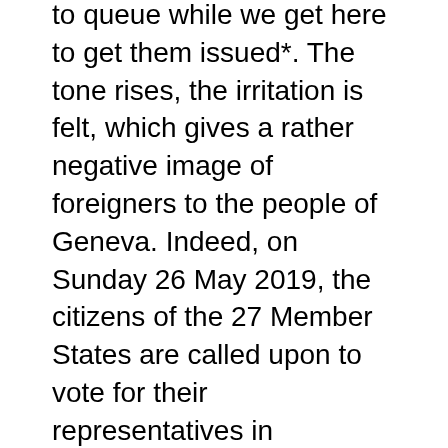to queue while we get here to get them issued*. The tone rises, the irritation is felt, which gives a rather negative image of foreigners to the people of Geneva. Indeed, on Sunday 26 May 2019, the citizens of the 27 Member States are called upon to vote for their representatives in parliament, the MEPs. But in Geneva, only if they are ready to trample on 2 hours in the sun… Enough to dissuade many (sick or disabled people, parents of young children, etc.), but certainly not far-right voters.
Indeed, apart from Estonians who vote online,  the consulate's dismissive deterrence operation must be braved in order to be able to vote because the fire station is far too small to accommodate all the people. And all this is part of a...